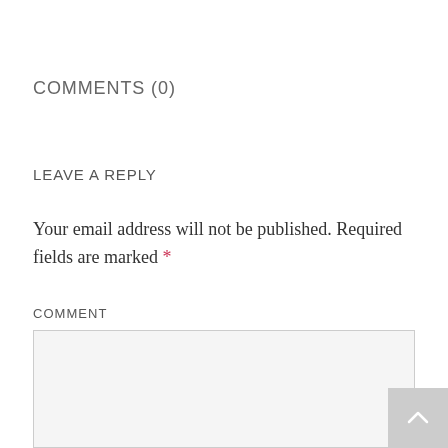COMMENTS (0)
LEAVE A REPLY
Your email address will not be published. Required fields are marked *
COMMENT
Comment